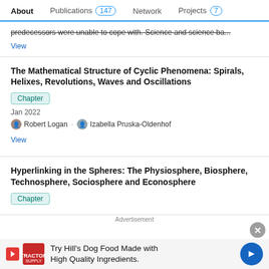About   Publications 147   Network   Projects 7
predecessors were unable to cope with. Science and science ba...
View
The Mathematical Structure of Cyclic Phenomena: Spirals, Helixes, Revolutions, Waves and Oscillations
Chapter
Jan 2022
Robert Logan · Izabella Pruska-Oldenhof
View
Hyperlinking in the Spheres: The Physiosphere, Biosphere, Technosphere, Sociosphere and Econosphere
Chapter
Advertisement
Try Hill's Dog Food Made with High Quality Ingredients.